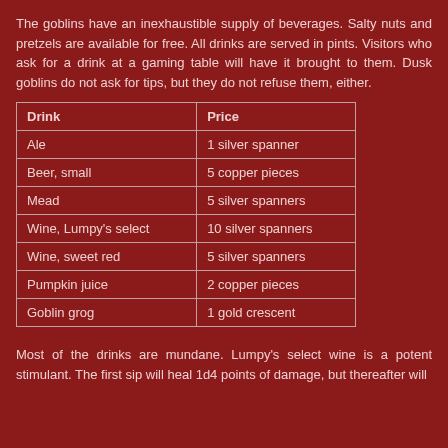The goblins have an inexhaustible supply of beverages. Salty nuts and pretzels are available for free. All drinks are served in pints. Visitors who ask for a drink at a gaming table will have it brought to them. Dusk goblins do not ask for tips, but they do not refuse them, either.
| Drink | Price |
| --- | --- |
| Ale | 1 silver spanner |
| Beer, small | 5 copper pieces |
| Mead | 5 silver spanners |
| Wine, Lumpy's select | 10 silver spanners |
| Wine, sweet red | 5 silver spanners |
| Pumpkin juice | 2 copper pieces |
| Goblin grog | 1 gold crescent |
Most of the drinks are mundane. Lumpy's select wine is a potent stimulant. The first sip will heal 1d4 points of damage, but thereafter will